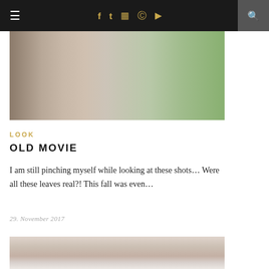≡  f  t  ☷  ⊕  ▶  🔍
[Figure (photo): Young woman in a lavender/light purple sweater leaning against a tree, partially cropped, green foliage background]
LOOK
OLD MOVIE
I am still pinching myself while looking at these shots… Were all these leaves real?! This fall was even…
29. November 2017
[Figure (photo): Woman with long braided/wavy brown hair, looking down, light background]